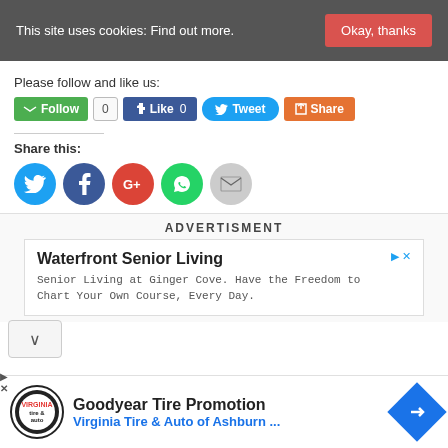This site uses cookies: Find out more.
Okay, thanks
Please follow and like us:
[Figure (screenshot): Social follow and share buttons: Follow, 0, Like 0, Tweet, Share]
Share this:
[Figure (infographic): Five social share circle icons: Twitter (blue), Facebook (dark blue), Google+ (red), WhatsApp (green), Email (grey)]
ADVERTISMENT
[Figure (screenshot): Waterfront Senior Living ad. Senior Living at Ginger Cove. Have the Freedom to Chart Your Own Course, Every Day.]
[Figure (screenshot): Goodyear Tire Promotion - Virginia Tire & Auto of Ashburn... ad with logo and blue arrow]